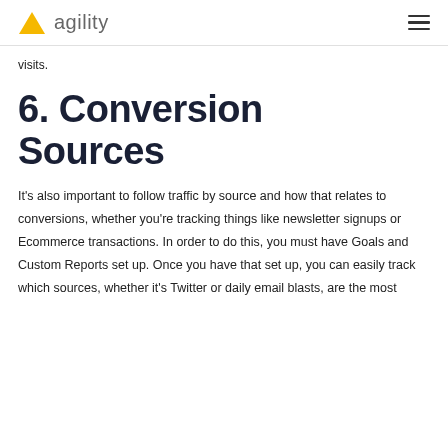agility
visits.
6. Conversion Sources
It's also important to follow traffic by source and how that relates to conversions, whether you're tracking things like newsletter signups or Ecommerce transactions. In order to do this, you must have Goals and Custom Reports set up. Once you have that set up, you can easily track which sources, whether it's Twitter or daily email blasts, are the most